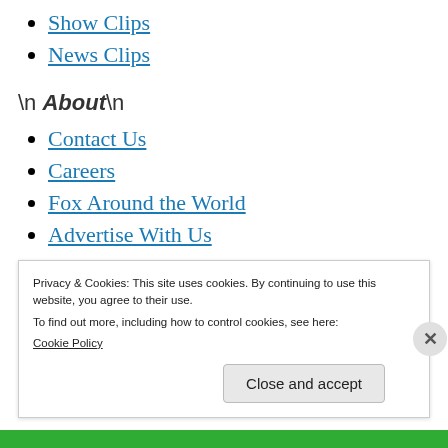Show Clips
News Clips
\n About\n
Contact Us
Careers
Fox Around the World
Advertise With Us
Media Relations
Privacy & Cookies: This site uses cookies. By continuing to use this website, you agree to their use.
To find out more, including how to control cookies, see here:
Cookie Policy
Close and accept